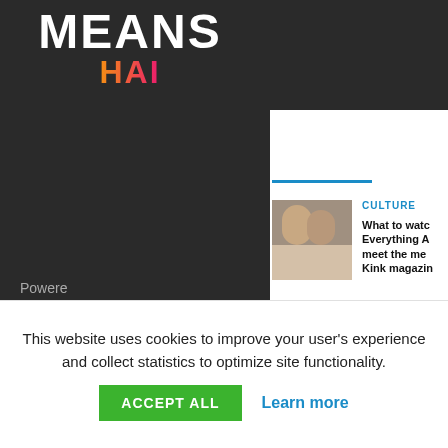MEANS HAPPY
Powered
[Figure (logo): Two circles, star, and GA text logo on dark background]
CULTURE
What to watch Everything A meet the me Kink magazin
[Figure (photo): Photo of two people]
CULTURE
Class Comics to hustle with
[Figure (illustration): Illustrated muscular male figure on beach]
Terms & Conditions
Privacy Policy
Contributor Terms
This website uses cookies to improve your user's experience and collect statistics to optimize site functionality.
ACCEPT ALL
Learn more